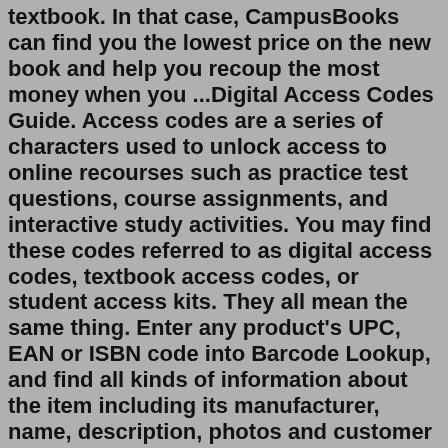textbook. In that case, CampusBooks can find you the lowest price on the new book and help you recoup the most money when you ...Digital Access Codes Guide. Access codes are a series of characters used to unlock access to online recourses such as practice test questions, course assignments, and interactive study activities. You may find these codes referred to as digital access codes, textbook access codes, or student access kits. They all mean the same thing. Enter any product's UPC, EAN or ISBN code into Barcode Lookup, and find all kinds of information about the item including its manufacturer, name, description, photos and customer reviews. We even show you links to online stores where you can buy the same item — often for less than your local retail store is charging.Copy and Paste. Copy and paste this emoji: ❓ This Unicode character has no emoji version, meaning this is intended to display only as a black and white glyph on most platforms. It has not been Recommended For General Interchange ( RGI) — as an emoji — by Unicode.Amazon.com. Spend less.